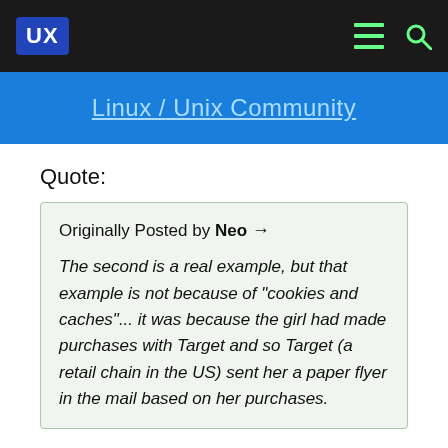UX | Linux / Unix Community
Quote:
Originally Posted by Neo →

The second is a real example, but that example is not because of "cookies and caches"... it was because the girl had made purchases with Target and so Target (a retail chain in the US) sent her a paper flyer in the mail based on her purchases.
If i remember correctly (i admit, i remember it